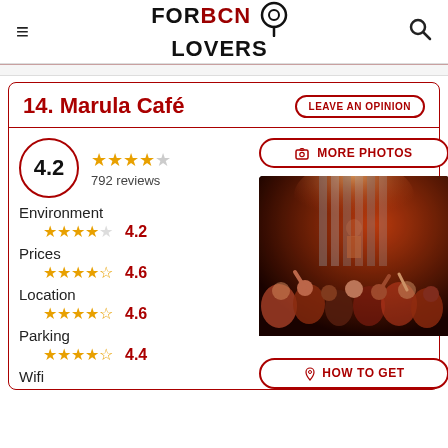FORBCN LOVERS
14. Marula Café
LEAVE AN OPINION
4.2 — 792 reviews
Environment 4.2
Prices 4.6
Location 4.6
Parking 4.4
Wifi
[Figure (photo): Interior of Marula Café showing a crowded nightclub/bar scene with warm red and orange lighting, people dancing, and a performer on stage with curtain backdrop]
MORE PHOTOS
HOW TO GET